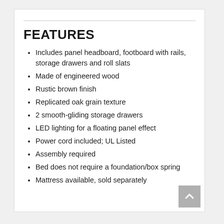FEATURES
Includes panel headboard, footboard with rails, storage drawers and roll slats
Made of engineered wood
Rustic brown finish
Replicated oak grain texture
2 smooth-gliding storage drawers
LED lighting for a floating panel effect
Power cord included; UL Listed
Assembly required
Bed does not require a foundation/box spring
Mattress available, sold separately